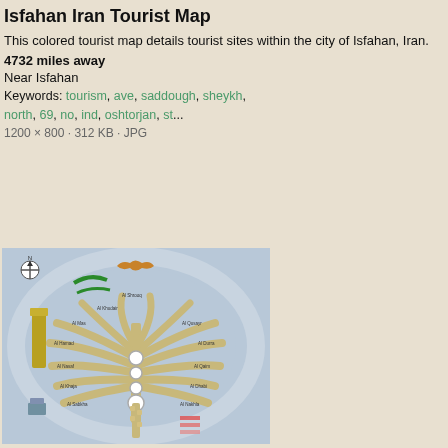Isfahan Iran Tourist Map
This colored tourist map details tourist sites within the city of Isfahan, Iran.
4732 miles away
Near Isfahan
Keywords: tourism, ave, saddough, sheykh, north, 69, no, ind, oshtorjan, st...
1200 × 800 · 312 KB · JPG
[Figure (map): Isfahan Iran tourist map showing a palm-tree shaped road layout with labeled streets and districts, on a light blue background with a compass rose and legend icons]